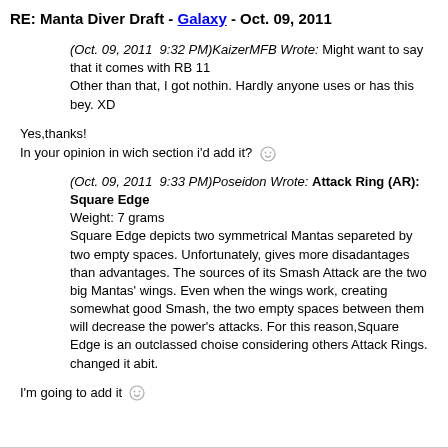RE: Manta Diver Draft - Galaxy - Oct. 09, 2011
(Oct. 09, 2011  9:32 PM)KaizerMFB Wrote: Might want to say that it comes with RB 11
Other than that, I got nothin. Hardly anyone uses or has this bey. XD
Yes,thanks!
In your opinion in wich section i'd add it? :)
(Oct. 09, 2011  9:33 PM)Poseidon Wrote: Attack Ring (AR): Square Edge
Weight: 7 grams
Square Edge depicts two symmetrical Mantas separeted by two empty spaces. Unfortunately, gives more disadantages than advantages. The sources of its Smash Attack are the two big Mantas' wings. Even when the wings work, creating somewhat good Smash, the two empty spaces between them will decrease the power's attacks. For this reason,Square Edge is an outclassed choise considering others Attack Rings.
changed it abit.
I'm going to add it :)